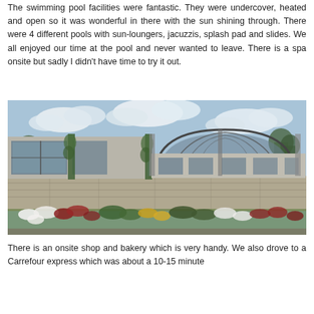The swimming pool facilities were fantastic. They were undercover, heated and open so it was wonderful in there with the sun shining through. There were 4 different pools with sun-loungers, jacuzzis, splash pad and slides. We all enjoyed our time at the pool and never wanted to leave. There is a spa onsite but sadly I didn't have time to try it out.
[Figure (photo): Exterior photograph of an indoor swimming pool complex with large glass windows, arched greenhouse-style roof, stone wall base, and colorful flower beds in the foreground, under a partly cloudy sky.]
There is an onsite shop and bakery which is very handy. We also drove to a Carrefour express which was about a 10-15 minute...